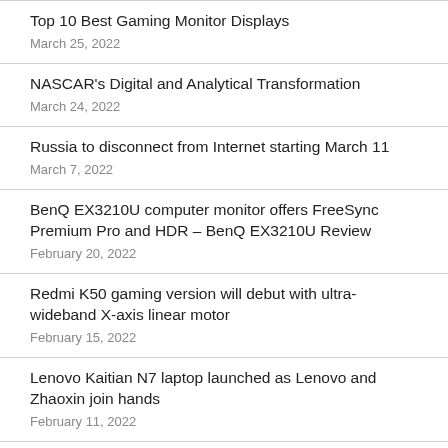Top 10 Best Gaming Monitor Displays
March 25, 2022
NASCAR's Digital and Analytical Transformation
March 24, 2022
Russia to disconnect from Internet starting March 11
March 7, 2022
BenQ EX3210U computer monitor offers FreeSync Premium Pro and HDR – BenQ EX3210U Review
February 20, 2022
Redmi K50 gaming version will debut with ultra-wideband X-axis linear motor
February 15, 2022
Lenovo Kaitian N7 laptop launched as Lenovo and Zhaoxin join hands
February 11, 2022